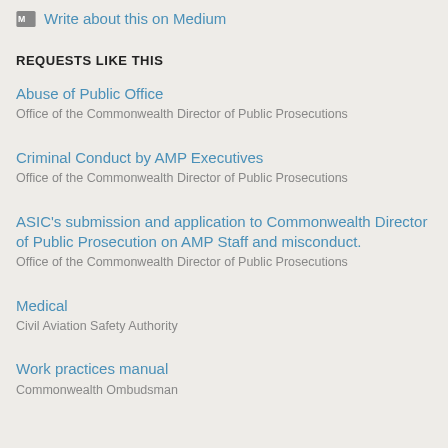Write about this on Medium
REQUESTS LIKE THIS
Abuse of Public Office
Office of the Commonwealth Director of Public Prosecutions
Criminal Conduct by AMP Executives
Office of the Commonwealth Director of Public Prosecutions
ASIC's submission and application to Commonwealth Director of Public Prosecution on AMP Staff and misconduct.
Office of the Commonwealth Director of Public Prosecutions
Medical
Civil Aviation Safety Authority
Work practices manual
Commonwealth Ombudsman